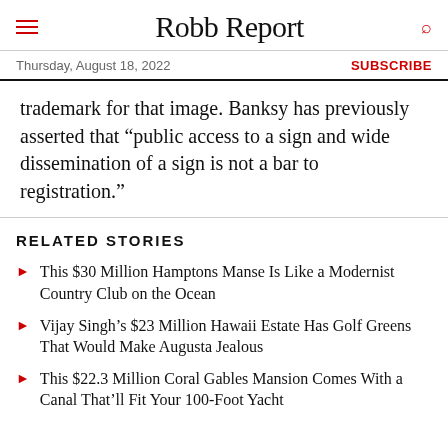Robb Report
Thursday, August 18, 2022 | SUBSCRIBE
trademark for that image. Banksy has previously asserted that “public access to a sign and wide dissemination of a sign is not a bar to registration.”
RELATED STORIES
This $30 Million Hamptons Manse Is Like a Modernist Country Club on the Ocean
Vijay Singh’s $23 Million Hawaii Estate Has Golf Greens That Would Make Augusta Jealous
This $22.3 Million Coral Gables Mansion Comes With a Canal That’ll Fit Your 100-Foot Yacht